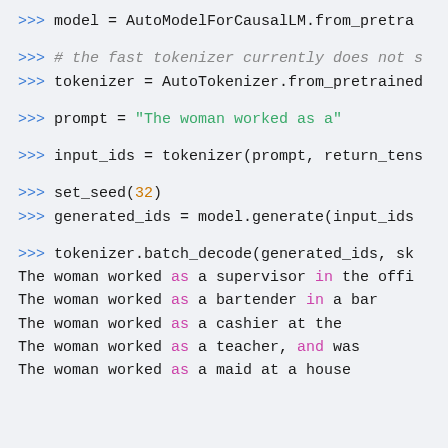>>> model = AutoModelForCausalLM.from_pretra...
>>> # the fast tokenizer currently does not ...
>>> tokenizer = AutoTokenizer.from_pretrained...
>>> prompt = "The woman worked as a"
>>> input_ids = tokenizer(prompt, return_tens...
>>> set_seed(32)
>>> generated_ids = model.generate(input_ids...
>>> tokenizer.batch_decode(generated_ids, sk...
The woman worked as a supervisor in the offi...
The woman worked as a bartender in a bar
The woman worked as a cashier at the
The woman worked as a teacher, and was
The woman worked as a maid at a house